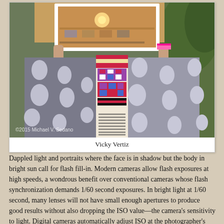[Figure (photo): A woman in a gray polka-dot and colorful embroidered dress holds up a framed painting above her head. Watermark reads '©2015 Michael V. Sedano'.]
Vicky Vertiz
Dappled light and portraits where the face is in shadow but the body in bright sun call for flash fill-in. Modern cameras allow flash exposures at high speeds, a wondrous benefit over conventional cameras whose flash synchronization demands 1/60 second exposures. In bright light at 1/60 second, many lenses will not have small enough apertures to produce good results without also dropping the ISO value—the camera's sensitivity to light. Digital cameras automatically adjust ISO at the photographer's option. In bright light, that's not much of an issue. Lower ISO images